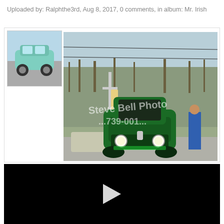Uploaded by: Ralphthe3rd, Aug 8, 2017, 0 comments, in album: Mr. Irish
Mr.Irish- front view, Steve Bell Photo
Media
[Figure (photo): Thumbnail of a light blue/teal classic car parked on pavement]
[Figure (photo): Front view of a dark green classic custom car (Mr. Irish) at what appears to be a drag strip or car show. Utility pole visible on left, bare trees in background. Watermark reads 'Steve Bell Photo' and partial phone number '...739-001...']
[Figure (screenshot): Black video player area with a white play button triangle in the center]